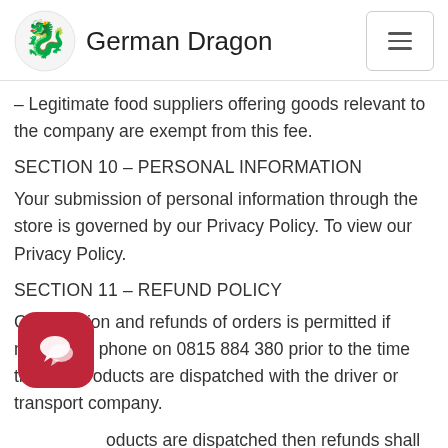German Dragon
– Legitimate food suppliers offering goods relevant to the company are exempt from this fee.
SECTION 10 – PERSONAL INFORMATION
Your submission of personal information through the store is governed by our Privacy Policy. To view our Privacy Policy.
SECTION 11 – REFUND POLICY
Cancellation and refunds of orders is permitted if notified by phone on 0815 884 380 prior to the time that the products are dispatched with the driver or transport company.
oducts are dispatched then refunds shall not be d.
In the event that a product delivered is missing, damaged or